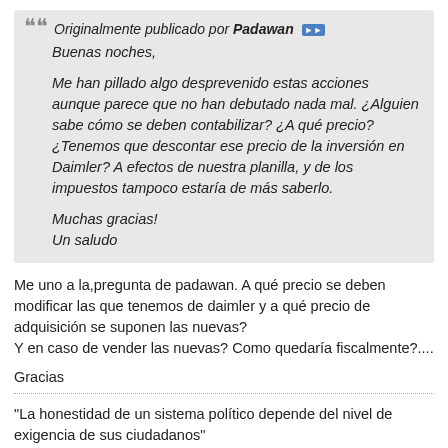Originalmente publicado por Padawan
Buenas noches,

Me han pillado algo desprevenido estas acciones aunque parece que no han debutado nada mal. ¿Alguien sabe cómo se deben contabilizar? ¿A qué precio? ¿Tenemos que descontar ese precio de la inversión en Daimler? A efectos de nuestra planilla, y de los impuestos tampoco estaría de más saberlo.

Muchas gracias!
Un saludo
Me uno a la,pregunta de padawan. A qué precio se deben modificar las que tenemos de daimler y a qué precio de adquisición se suponen las nuevas?
Y en caso de vender las nuevas? Como quedaría fiscalmente?....
Gracias
"La honestidad de un sistema político depende del nivel de exigencia de sus ciudadanos"